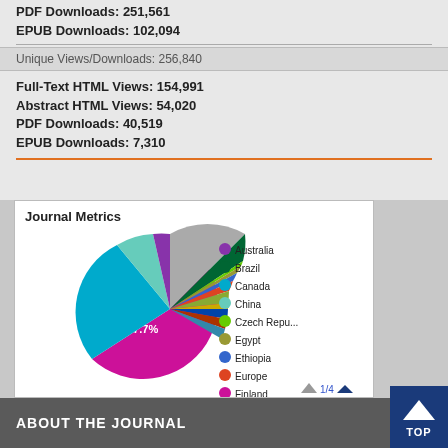PDF Downloads: 251,561
EPUB Downloads: 102,094
Unique Views/Downloads: 256,840
Full-Text HTML Views: 154,991
Abstract HTML Views: 54,020
PDF Downloads: 40,519
EPUB Downloads: 7,310
[Figure (pie-chart): Journal Metrics]
ABOUT THE JOURNAL